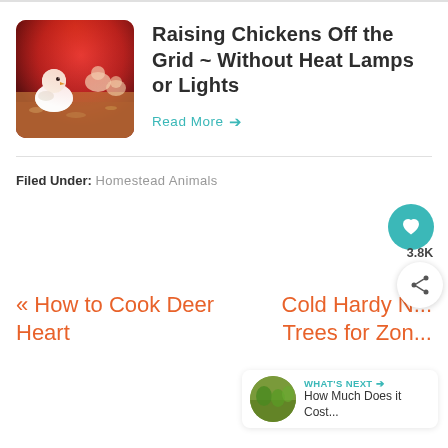[Figure (photo): Baby chicks under red heat lamp light, warm reddish glow, white fluffy chick in foreground]
Raising Chickens Off the Grid ~ Without Heat Lamps or Lights
Read More →
Filed Under: Homestead Animals
« How to Cook Deer Heart
Cold Hardy N... Trees for Zon...
WHAT'S NEXT → How Much Does it Cost...